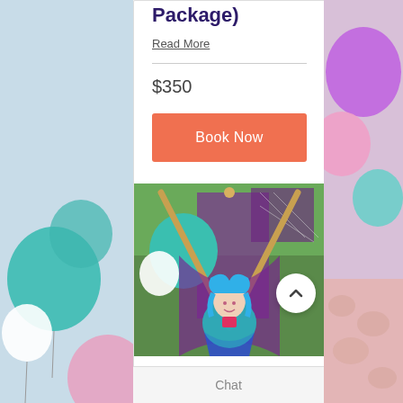[Figure (photo): Left side strip showing teal and pink balloons against outdoor background]
Package)
Read More
$350
Book Now
[Figure (photo): Mermaid doll with blue hair and sequin tail inside a wooden teepee frame with teal and purple balloons in background]
[Figure (photo): Right side strip showing purple, pink and teal balloons and a light pink textured surface]
Chat